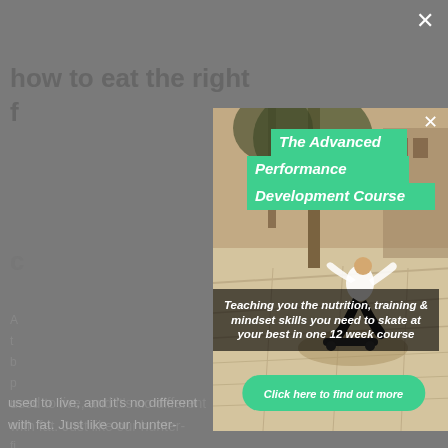how to eat the right f...
c...
A... t... b... p... c... s... fi...
[Figure (photo): Modal popup overlay showing a skateboarder performing a trick on stone steps. The modal contains a green banner title 'The Advanced Performance Development Course', a dark subtitle box reading 'Teaching you the nutrition, training & mindset skills you need to skate at your best in one 12 week course', and a green CTA button 'Click here to find out more'. A white X close button is in the top right.]
used to live, and it's no different with fat. Just like our hunter-